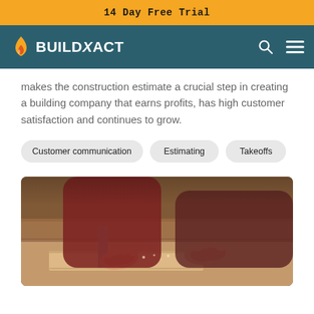14 Day Free Trial
[Figure (logo): BuildXact logo with flame icon and bold text 'BUILDXACT' on teal navigation bar with search and menu icons]
makes the construction estimate a crucial step in creating a building company that earns profits, has high customer satisfaction and continues to grow.
Customer communication
Estimating
Takeoffs
[Figure (photo): Close-up photo of a carpenter's hands working with wood on a table saw in a workshop]